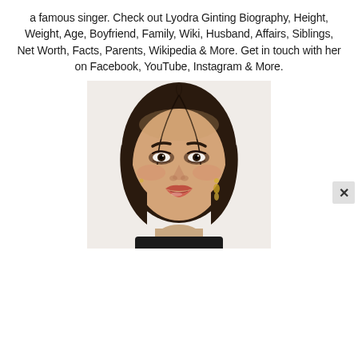a famous singer. Check out Lyodra Ginting Biography, Height, Weight, Age, Boyfriend, Family, Wiki, Husband, Affairs, Siblings, Net Worth, Facts, Parents, Wikipedia & More. Get in touch with her on Facebook, YouTube, Instagram & More.
[Figure (photo): Portrait photo of Lyodra Ginting, a young Asian woman with dark hair parted in the middle, wearing glamorous makeup with smoky eyes and coral/red lips, and dangling earrings. She is looking slightly downward toward the camera against a light background.]